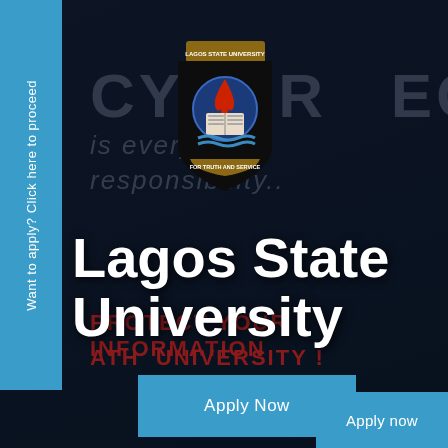[Figure (illustration): Dark background cybersecurity themed image with faded text reading CYBERSECURITY is everyone's responsibility, PROTECT YOUR INFORMATION, Lagos State University crest/logo centered at top]
Want to apply? Click here to proceed
Lagos State University
Apply Now
Apply now